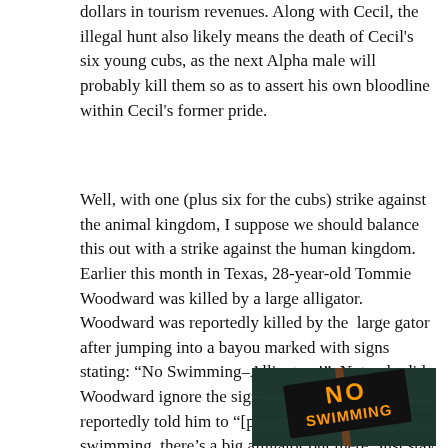dollars in tourism revenues. Along with Cecil, the illegal hunt also likely means the death of Cecil's six young cubs, as the next Alpha male will probably kill them so as to assert his own bloodline within Cecil's former pride.
Well, with one (plus six for the cubs) strike against the animal kingdom, I suppose we should balance this out with a strike against the human kingdom. Earlier this month in Texas, 28-year-old Tommie Woodward was killed by a large alligator. Woodward was reportedly killed by the large gator after jumping into a bayou marked with signs stating: “No Swimming–Alligators!” Not only did Woodward ignore the signs, but a marina employee reportedly told him to “[p]lease do not go swimming, there’s a big alligator out there. Just stay out of the water.”
[Figure (photo): Photo of a dark warning sign reading 'NO SWIMMING' in orange text on a black background, mounted on a post, with dark water visible in the background.]